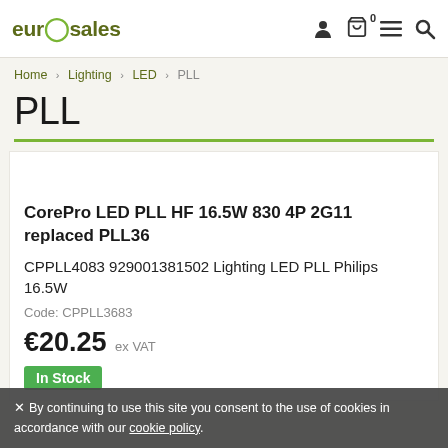eurosales — navigation header with logo and icons (person, cart 0, menu, search)
Home > Lighting > LED > PLL
PLL
CorePro LED PLL HF 16.5W 830 4P 2G11 replaced PLL36
CPPLL4083 929001381502 Lighting LED PLL Philips 16.5W
Code: CPPLL3683
€20.25 ex VAT
In Stock
✕ By continuing to use this site you consent to the use of cookies in accordance with our cookie policy.